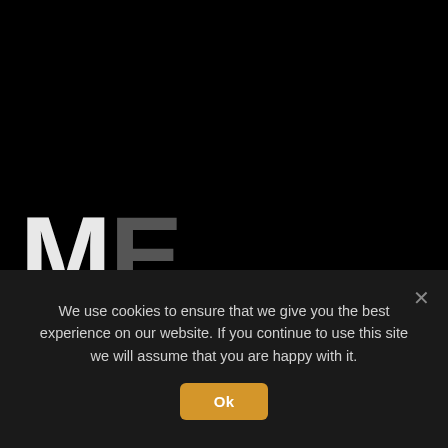ME
We use cookies to ensure that we give you the best experience on our website. If you continue to use this site we will assume that you are happy with it.